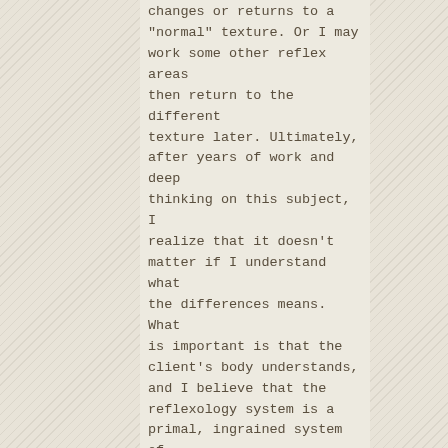changes or returns to a "normal" texture. Or I may work some other reflex areas then return to the different texture later. Ultimately, after years of work and deep thinking on this subject, I realize that it doesn't matter if I understand what the differences means.  What is important is that the client's body understands, and I believe that the reflexology system is a primal, ingrained system of self-regulation that doesn't require language or higher thinking to act upon.